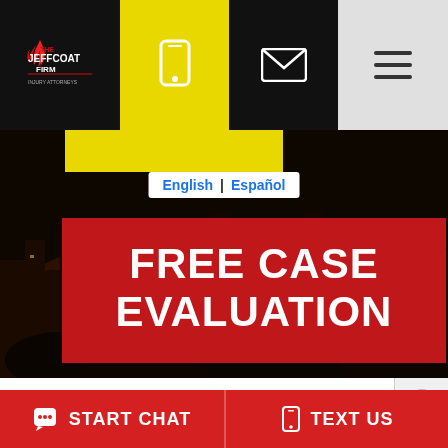[Figure (logo): The Jeffcoat Firm logo - red torch/flame icon with firm name in white text on black background]
[Figure (infographic): Website header navigation bar with phone icon on yellow background, email icon on black background, hamburger menu on gray background]
[Figure (screenshot): Hero image of city at night (Columbia SC cityscape) with dark overlay]
English | Español
FREE CASE EVALUATION
If you have lost somebody you love because of t
[Figure (other): reCAPTCHA badge partially visible]
START CHAT
TEXT US